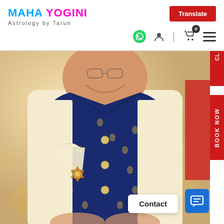MAHA YOGINI Astrology by Tarun
Translate
[Figure (photo): A smiling man wearing a navy blue embroidered waistcoat/Nehru jacket over a cream kurta, with a pocket square and brooch, photographed at an event with blurred background bokeh.]
BOOK NOW
Contact